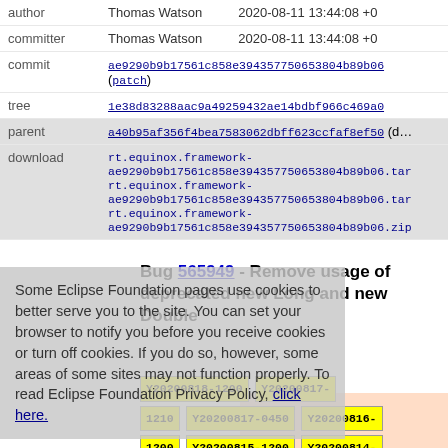| field | value |
| --- | --- |
| author | Thomas Watson   2020-08-11 13:44:08 +0 |
| committer | Thomas Watson   2020-08-11 13:44:08 +0 |
| commit | ae9290b9b17561c858e394357750653804b89b06  (patch) |
| tree | 1e38d83288aac9a49259432ae14bdbf966c469a0 |
| parent | a40b95af356f4bea7583062dbff623ccfaf8ef50  (di…) |
| download | rt.equinox.framework-ae9290b9b17561c858e394357750653804b89b06.tar  rt.equinox.framework-ae9290b9b17561c858e394357750653804b89b06.tar  rt.equinox.framework-ae9290b9b17561c858e394357750653804b89b06.zip |
Some Eclipse Foundation pages use cookies to better serve you to the site. You can set your browser to notify you before you receive cookies or turn off cookies. If you do so, however, some areas of some sites may not function properly. To read Eclipse Foundation Privacy Policy, click here.
Bug 565949 - Remove usage of deprecated new Long and new Double
Y20200818-1200  Y20200817-1210  Y20200817-0450  Y20200816-1200  Y20200815-1200  Y20200814-1200  Y20200814-0650  Y20200814-0630  Y20200813-1200  Y20200812-...  Y20200814-1200  Y20200810-...